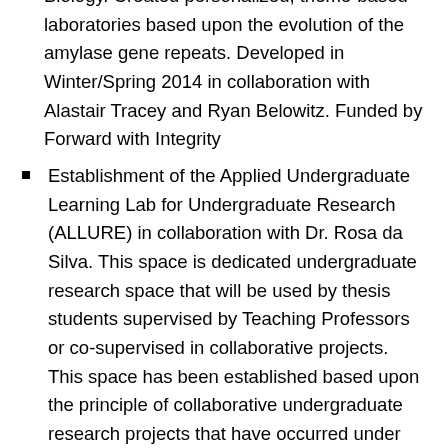Biology. Created personalized, theme-based laboratories based upon the evolution of the amylase gene repeats. Developed in Winter/Spring 2014 in collaboration with Alastair Tracey and Ryan Belowitz. Funded by Forward with Integrity
Establishment of the Applied Undergraduate Learning Lab for Undergraduate Research (ALLURE) in collaboration with Dr. Rosa da Silva. This space is dedicated undergraduate research space that will be used by thesis students supervised by Teaching Professors or co-supervised in collaborative projects. This space has been established based upon the principle of collaborative undergraduate research projects that have occurred under my supervision for the past 10 years with a total of about 70 students in thesis projects, placement projects, and volunteer